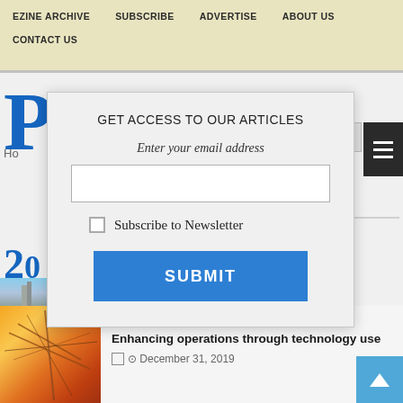EZINE ARCHIVE   SUBSCRIBE   ADVERTISE   ABOUT US   CONTACT US
[Figure (screenshot): Website modal dialog asking user to enter email address to get access to articles, with a newsletter subscription checkbox and a SUBMIT button. Behind the modal, partial website content is visible including a large letter P, navigation text, and a background power plant image. An article for Delhi Transco Limited is visible at the bottom.]
GET ACCESS TO OUR ARTICLES
Enter your email address
Subscribe to Newsletter
SUBMIT
Delhi Transco Limited
Enhancing operations through technology use
December 31, 2019